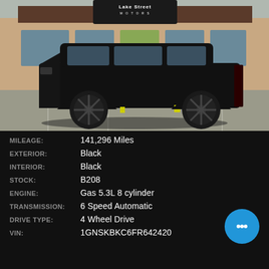[Figure (photo): Lifted black Chevrolet Tahoe SUV with large black wheels and yellow suspension accents, parked in front of Lake Street Motors dealership]
| Label | Value |
| --- | --- |
| MILEAGE: | 141,296 Miles |
| EXTERIOR: | Black |
| INTERIOR: | Black |
| STOCK: | B208 |
| ENGINE: | Gas 5.3L 8 cylinder |
| TRANSMISSION: | 6 Speed Automatic |
| DRIVE TYPE: | 4 Wheel Drive |
| VIN: | 1GNSKBKC6FR642420 |